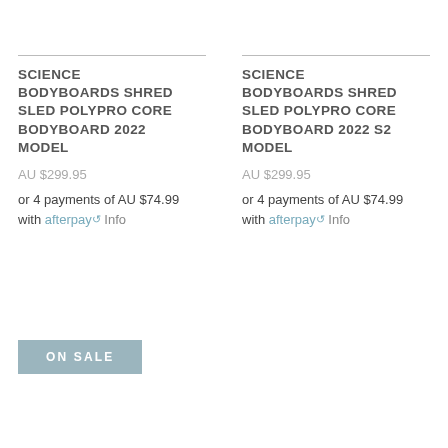SCIENCE BODYBOARDS SHRED SLED POLYPRO CORE BODYBOARD 2022 MODEL
AU $299.95
or 4 payments of AU $74.99 with afterpay Info
SCIENCE BODYBOARDS SHRED SLED POLYPRO CORE BODYBOARD 2022 S2 MODEL
AU $299.95
or 4 payments of AU $74.99 with afterpay Info
ON SALE